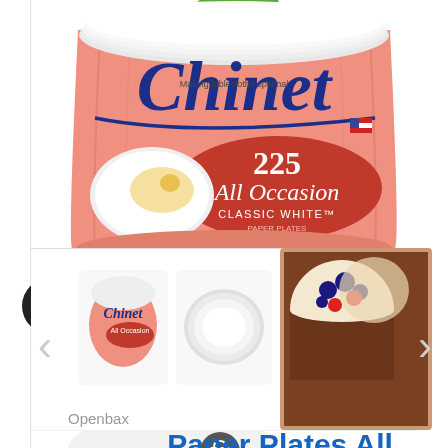[Figure (photo): Chinet 225 All Occasion Classic White paper plates product package - large pink/salmon colored bag with white plates and Chinet branding]
[Figure (photo): Thumbnail gallery strip showing: Chinet package thumbnail, single white paper plate, cheesecake dessert on plate, tacos on plate]
Openbax
REWARDS
Paper Plates All Occasion (225 ct.)